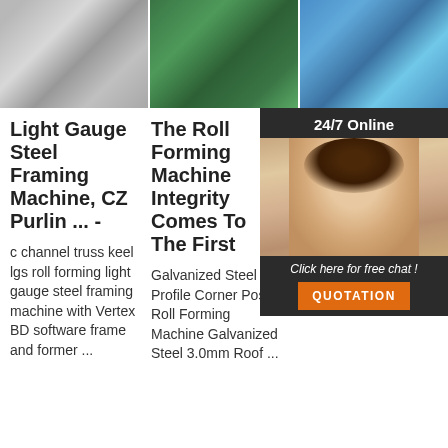[Figure (photo): Three industrial machinery photos side by side at the top: metallic roll forming components (left), green-tinted machine interior (center), blue roll forming machine (right)]
Light Gauge Steel Framing Machine, CZ Purlin ... -
c channel truss keel lgs roll forming light gauge steel framing machine with Vertex BD software frame and former ...
The Roll Forming Machine Integrity Comes To The First
Galvanized Steel Profile Corner Post Roll Forming Machine Galvanized Steel 3.0mm Roof ...
Manufacture Steel Frame F T E
The E is the culmination of over 25 years of research and development into light ...
[Figure (infographic): 24/7 Online chat popup with female agent wearing headset, 'Click here for free chat!' text, and orange QUOTATION button]